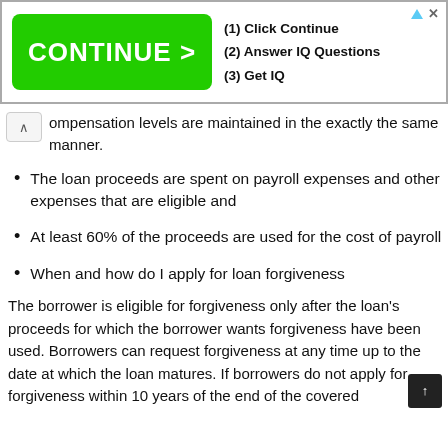[Figure (screenshot): Advertisement banner with green 'CONTINUE >' button and text: (1) Click Continue, (2) Answer IQ Questions, (3) Get IQ]
compensation levels are maintained in the exactly the same manner.
The loan proceeds are spent on payroll expenses and other expenses that are eligible and
At least 60% of the proceeds are used for the cost of payroll
When and how do I apply for loan forgiveness
The borrower is eligible for forgiveness only after the loan's proceeds for which the borrower wants forgiveness have been used. Borrowers can request forgiveness at any time up to the date at which the loan matures. If borrowers do not apply for forgiveness within 10 years of the end of the covered